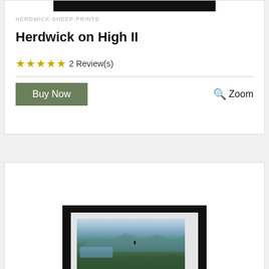[Figure (photo): Top portion of a framed print product card — black frame bar visible at top]
HERDWICK-SHEEP-PRINTS
Herdwick on High II
★★★★★ 2 Review(s)
Buy Now
🔍 Zoom
[Figure (photo): Bottom product card showing a framed landscape photograph of mountains with a figure on a ridge, lake visible below]